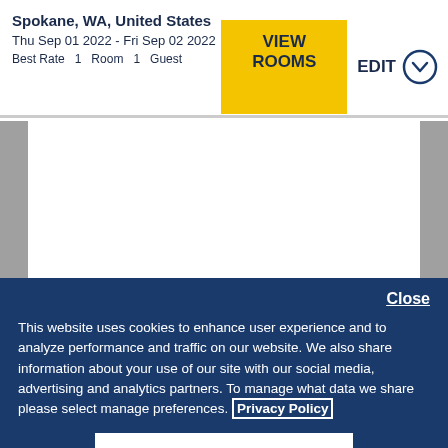Spokane, WA, United States
Thu Sep 01 2022 - Fri Sep 02 2022
Best Rate   1  Room  1  Guest
[Figure (screenshot): Hotel booking header with VIEW ROOMS yellow button and EDIT with chevron circle icon]
[Figure (photo): White hotel room image placeholder with gray side panels]
Close
This website uses cookies to enhance user experience and to analyze performance and traffic on our website. We also share information about your use of our site with our social media, advertising and analytics partners. To manage what data we share please select manage preferences. Privacy Policy
Manage Preferences